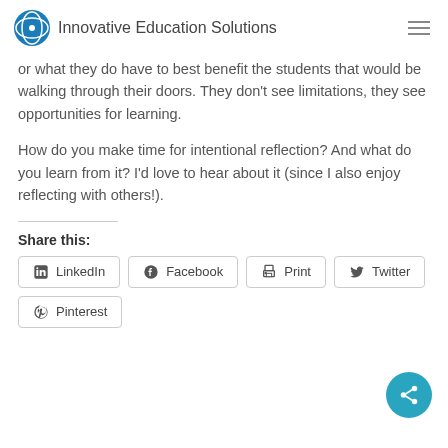Innovative Education Solutions
or what they do have to best benefit the students that would be walking through their doors. They don't see limitations, they see opportunities for learning.
How do you make time for intentional reflection? And what do you learn from it? I'd love to hear about it (since I also enjoy reflecting with others!).
Share this:
LinkedIn  Facebook  Print  Twitter  Pinterest